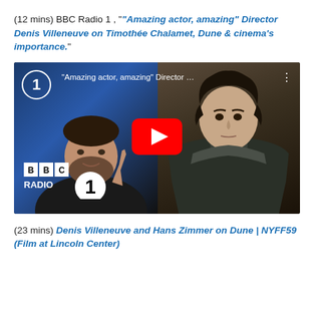(12 mins) BBC Radio 1 , "“Amazing actor, amazing” Director Denis Villeneuve on Timothée Chalamet, Dune & cinema’s importance."
[Figure (screenshot): YouTube video thumbnail for BBC Radio 1 interview featuring Denis Villeneuve (left) and Timothée Chalamet in Dune armor (right), with a red YouTube play button in the center and BBC Radio 1 logo at bottom left.]
(23 mins) Denis Villeneuve and Hans Zimmer on Dune | NYFF59 (Film at Lincoln Center)